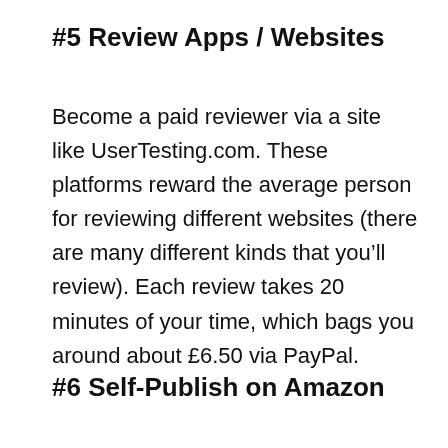#5 Review Apps / Websites
Become a paid reviewer via a site like UserTesting.com. These platforms reward the average person for reviewing different websites (there are many different kinds that you’ll review). Each review takes 20 minutes of your time, which bags you around about £6.50 via PayPal.
#6 Self-Publish on Amazon